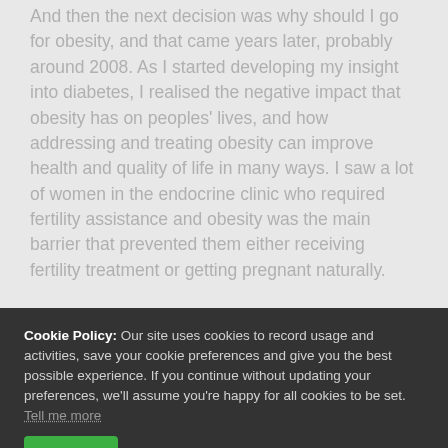And then the next decision was why should I go for obesity, and that came years later, probably around 2008. As I started developing my insight into diabetes, I realised the negative impact that obesity has on peoples' lives, and how addressing and treating obesity can improve health and quality of life in many ways. I saw a lot of women in the endocrine clinic who required fertility assistance and obesity was the main barrier that prevented them either receiving fertility treatment or getting pregnant naturally.
Cookie Policy: Our site uses cookies to record usage and activities, save your cookie preferences and give you the best possible experience. If you continue without updating your preferences, we'll assume you're happy for all cookies to be set. Tell me more
Accept   Cookie Preferences